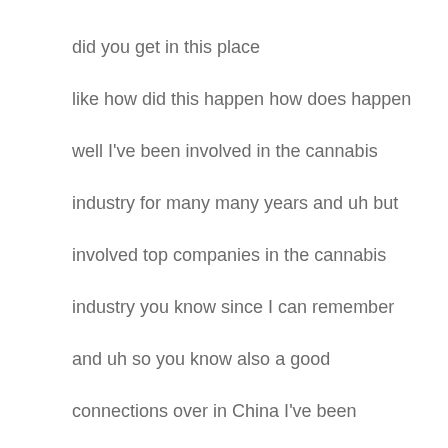did you get in this place
like how did this happen how does happen
well I've been involved in the cannabis
industry for many many years and uh but
involved top companies in the cannabis
industry you know since I can remember
and uh so you know also a good
connections over in China I've been
doing business there for going on 19 20